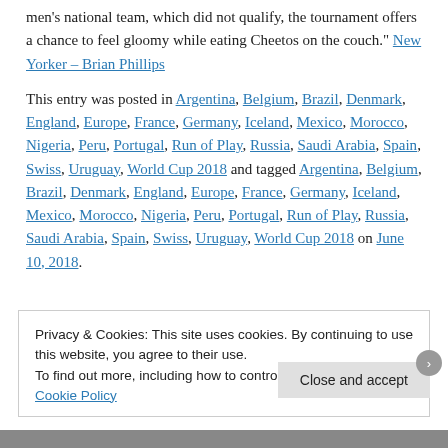men's national team, which did not qualify, the tournament offers a chance to feel gloomy while eating Cheetos on the couch." New Yorker – Brian Phillips
This entry was posted in Argentina, Belgium, Brazil, Denmark, England, Europe, France, Germany, Iceland, Mexico, Morocco, Nigeria, Peru, Portugal, Run of Play, Russia, Saudi Arabia, Spain, Swiss, Uruguay, World Cup 2018 and tagged Argentina, Belgium, Brazil, Denmark, England, Europe, France, Germany, Iceland, Mexico, Morocco, Nigeria, Peru, Portugal, Run of Play, Russia, Saudi Arabia, Spain, Swiss, Uruguay, World Cup 2018 on June 10, 2018.
Privacy & Cookies: This site uses cookies. By continuing to use this website, you agree to their use. To find out more, including how to control cookies, see here: Cookie Policy
Close and accept